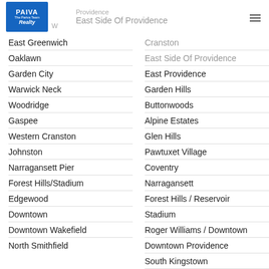Providence | East Side Of Providence
[Figure (logo): Paiva Realty - The Pariva Team logo, blue background]
East Greenwich
Oaklawn
Garden City
Warwick Neck
Woodridge
Gaspee
Western Cranston
Johnston
Narragansett Pier
Forest Hills/Stadium
Edgewood
Downtown
Downtown Wakefield
North Smithfield
Cranston
East Side Of Providence
East Providence
Garden Hills
Buttonwoods
Alpine Estates
Glen Hills
Pawtuxet Village
Coventry
Narragansett
Forest Hills / Reservoir
Stadium
Roger Williams / Downtown
Downtown Providence
South Kingstown
Smithfield